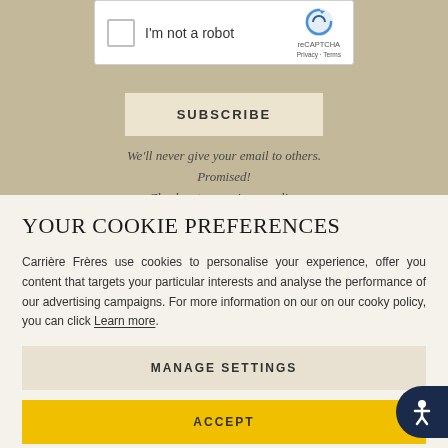[Figure (screenshot): reCAPTCHA checkbox widget with 'I'm not a robot' label and reCAPTCHA branding (Privacy · Terms)]
SUBSCRIBE
We'll never give your email to others. Promised!
Check out our privacy policy
YOUR COOKIE PREFERENCES
Carrière Frères use cookies to personalise your experience, offer you content that targets your particular interests and analyse the performance of our advertising campaigns. For more information on our on our cooky policy, you can click Learn more.
MANAGE SETTINGS
ACCEPT